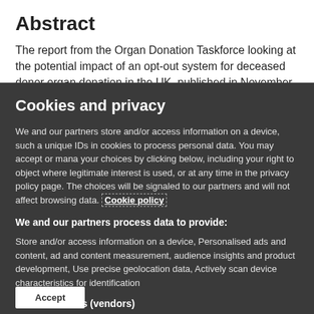Abstract
The report from the Organ Donation Taskforce looking at the potential impact of an opt-out system for deceased donor organ donation in the UK, published in November
Cookies and privacy
We and our partners store and/or access information on a device, such a unique IDs in cookies to process personal data. You may accept or mana your choices by clicking below, including your right to object where legitimate interest is used, or at any time in the privacy policy page. The choices will be signaled to our partners and will not affect browsing data. Cookie policy
We and our partners process data to provide:
Store and/or access information on a device, Personalised ads and content, ad and content measurement, audience insights and product development, Use precise geolocation data, Actively scan device characteristics for identification
List of Partners (vendors)